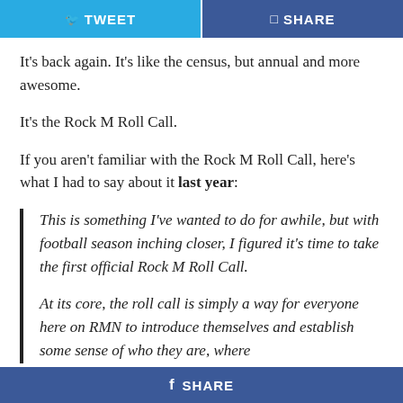TWEET | SHARE
It's back again. It's like the census, but annual and more awesome.
It's the Rock M Roll Call.
If you aren't familiar with the Rock M Roll Call, here's what I had to say about it last year:
This is something I've wanted to do for awhile, but with football season inching closer, I figured it's time to take the first official Rock M Roll Call.
At its core, the roll call is simply a way for everyone here on RMN to introduce themselves and establish some sense of who they are, where
SHARE